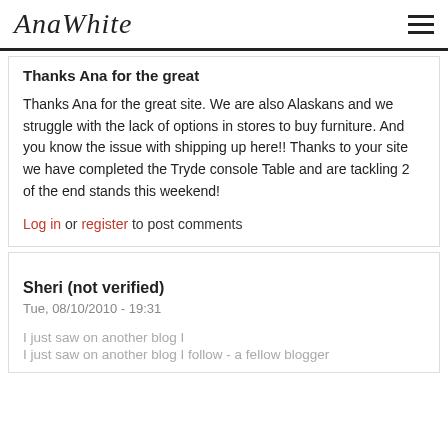AnaWhite
Thanks Ana for the great
Thanks Ana for the great site. We are also Alaskans and we struggle with the lack of options in stores to buy furniture. And you know the issue with shipping up here!! Thanks to your site we have completed the Tryde console Table and are tackling 2 of the end stands this weekend!
Log in or register to post comments
Sheri (not verified)
Tue, 08/10/2010 - 19:31
I just saw on another blog I
I just saw on another blog I follow - a fellow blogger